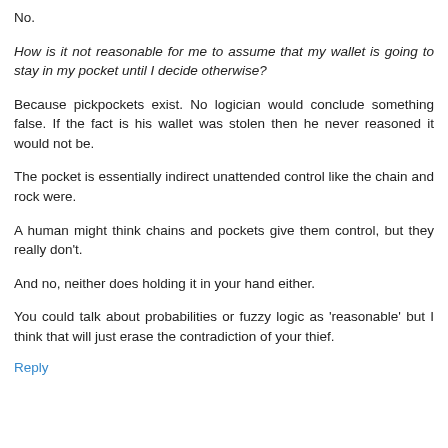No.
How is it not reasonable for me to assume that my wallet is going to stay in my pocket until I decide otherwise?
Because pickpockets exist. No logician would conclude something false. If the fact is his wallet was stolen then he never reasoned it would not be.
The pocket is essentially indirect unattended control like the chain and rock were.
A human might think chains and pockets give them control, but they really don't.
And no, neither does holding it in your hand either.
You could talk about probabilities or fuzzy logic as 'reasonable' but I think that will just erase the contradiction of your thief.
Reply